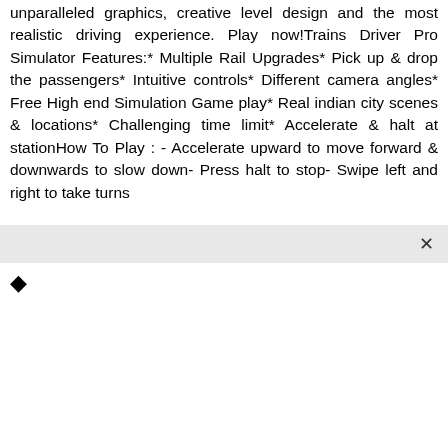unparalleled graphics, creative level design and the most realistic driving experience. Play now!Trains Driver Pro Simulator Features:* Multiple Rail Upgrades* Pick up & drop the passengers* Intuitive controls* Different camera angles* Free High end Simulation Game play* Real indian city scenes & locations* Challenging time limit* Accelerate & halt at stationHow To Play : - Accelerate upward to move forward & downwards to slow down- Press halt to stop- Swipe left and right to take turns
[Figure (other): A small diamond/rhombus shaped icon (filled black)]